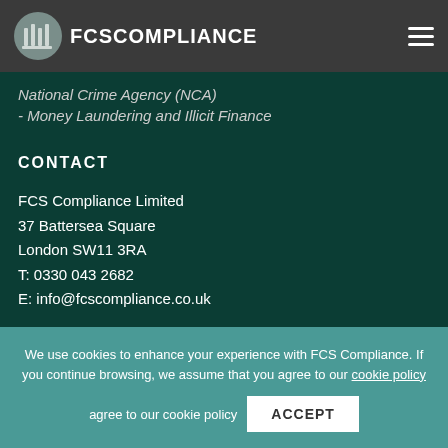FCS COMPLIANCE
National Crime Agency (NCA)
- Money Laundering and Illicit Finance
CONTACT
FCS Compliance Limited
37 Battersea Square
London SW11 3RA
T: 0330 043 2682
E: info@fcscompliance.co.uk
We use cookies to enhance your experience with FCS Compliance. If you continue browsing, we assume that you agree to our cookie policy
ACCEPT